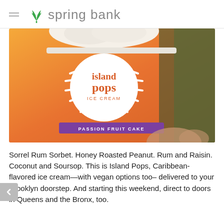spring bank
[Figure (photo): A hand holding an orange Island Pops Ice Cream cup with 'Passion Fruit Cake' label, featuring a sun design with the brand name in the center circle, with green foliage visible in the background.]
Sorrel Rum Sorbet. Honey Roasted Peanut. Rum and Raisin. Coconut and Soursop. This is Island Pops, Caribbean-flavored ice cream—with vegan options too– delivered to your Brooklyn doorstep. And starting this weekend, direct to doors in Queens and the Bronx, too.